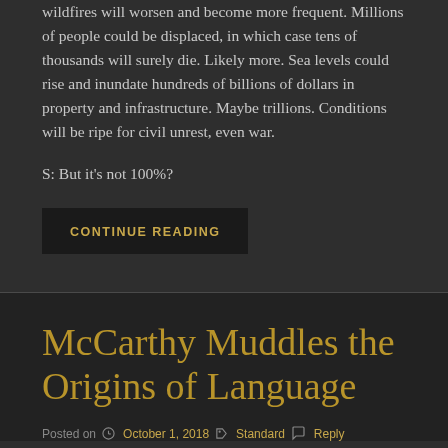wildfires will worsen and become more frequent. Millions of people could be displaced, in which case tens of thousands will surely die. Likely more. Sea levels could rise and inundate hundreds of billions of dollars in property and infrastructure. Maybe trillions. Conditions will be ripe for civil unrest, even war.
S: But it's not 100%?
CONTINUE READING
McCarthy Muddles the Origins of Language
Posted on  October 1, 2018  Standard  Reply